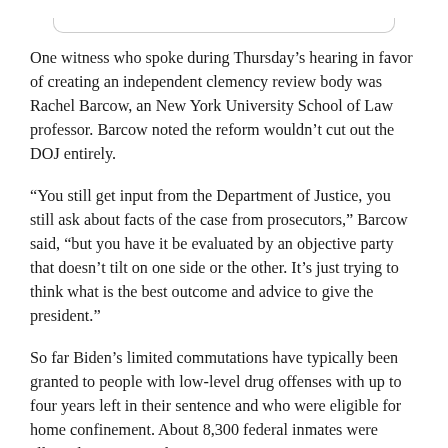One witness who spoke during Thursday's hearing in favor of creating an independent clemency review body was Rachel Barcow, an New York University School of Law professor. Barcow noted the reform wouldn't cut out the DOJ entirely.
“You still get input from the Department of Justice, you still ask about facts of the case from prosecutors,” Barcow said, “but you have it be evaluated by an objective party that doesn’t tilt on one side or the other. It’s just trying to think what is the best outcome and advice to give the president.”
So far Biden’s limited commutations have typically been granted to people with low-level drug offenses with up to four years left in their sentence and who were eligible for home confinement. About 8,300 federal inmates were allowed to temporarily